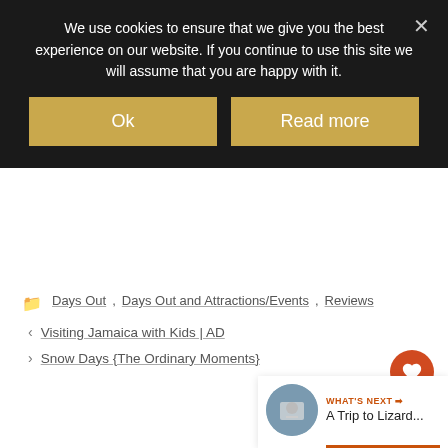We use cookies to ensure that we give you the best experience on our website. If you continue to use this site we will assume that you are happy with it.
Ok | Read more
Days Out, Days Out and Attractions/Events, Reviews
< Visiting Jamaica with Kids | AD
> Snow Days {The Ordinary Moments}
[Figure (screenshot): WHAT'S NEXT arrow label with thumbnail image and title 'A Trip to Lizard...']